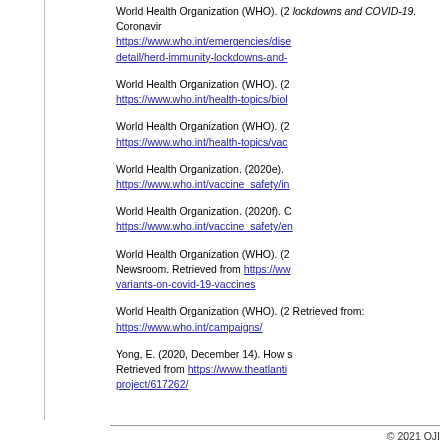World Health Organization (WHO). (2020d). Herd immunity, lockdowns and COVID-19. Coronavirus disease (COVID-19). https://www.who.int/emergencies/diseases/novel-coronavirus-2019/question-and-answers-hub/q-a-detail/herd-immunity-lockdowns-and-covid-19
World Health Organization (WHO). (2020b). https://www.who.int/health-topics/biol...
World Health Organization (WHO). (2020c). https://www.who.int/health-topics/vac...
World Health Organization. (2020e). https://www.who.int/vaccine_safety/in...
World Health Organization. (2020f). https://www.who.int/vaccine_safety/en...
World Health Organization (WHO). (2021). Newsroom. Retrieved from https://www.who.int/... variants-on-covid-19-vaccines
World Health Organization (WHO). (2020). Retrieved from: https://www.who.int/campaigns/...
Yong, E. (2020, December 14). How s... Retrieved from https://www.theatlantic... project/617262/
© 2021 OJI...